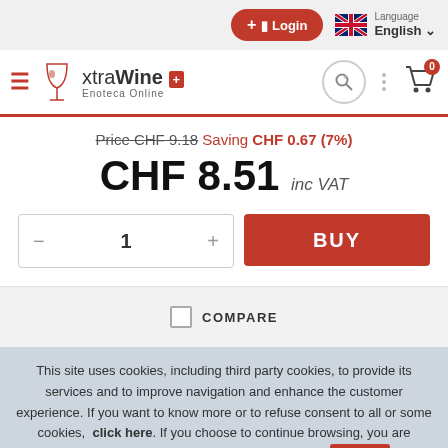Login  Language English
[Figure (logo): xtraWine Enoteca Online logo with Swiss cross, hamburger menu, search icon, and cart with 0 items]
Price CHF 9.18 Saving CHF 0.67 (7%)
CHF 8.51 inc VAT
1  BUY
COMPARE
This site uses cookies, including third party cookies, to provide its services and to improve navigation and enhance the customer experience. If you want to know more or to refuse consent to all or some cookies, click here. If you choose to continue browsing, you are confirming that you accept the use of cookies.  Ok